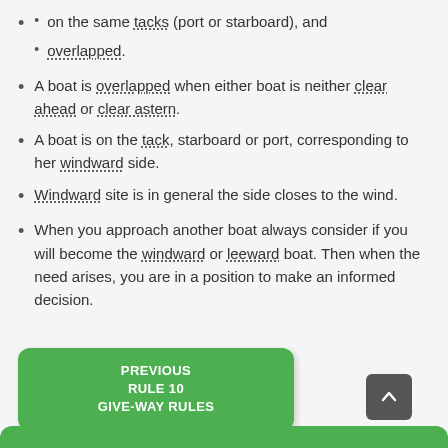on the same tacks (port or starboard), and
overlapped.
A boat is overlapped when either boat is neither clear ahead or clear astern.
A boat is on the tack, starboard or port, corresponding to her windward side.
Windward site is in general the side closes to the wind.
When you approach another boat always consider if you will become the windward or leeward boat. Then when the need arises, you are in a position to make an informed decision.
[Figure (other): Green button: PREVIOUS RULE 10 GIVE-WAY RULES, and a dark grey up/back-to-top button, plus a green bar at the bottom]